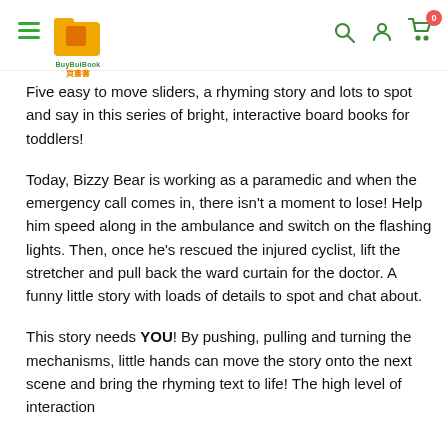BuyBuyBook 買書書 — navigation header with logo, search, account, and cart icons
Five easy to move sliders, a rhyming story and lots to spot and say in this series of bright, interactive board books for toddlers!
Today, Bizzy Bear is working as a paramedic and when the emergency call comes in, there isn't a moment to lose! Help him speed along in the ambulance and switch on the flashing lights. Then, once he's rescued the injured cyclist, lift the stretcher and pull back the ward curtain for the doctor. A funny little story with loads of details to spot and chat about.
This story needs YOU! By pushing, pulling and turning the mechanisms, little hands can move the story onto the next scene and bring the rhyming text to life! The high level of interaction